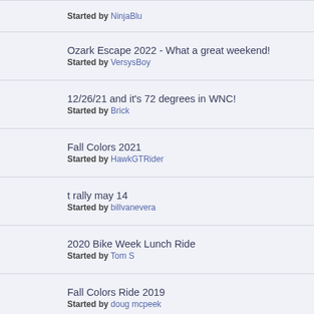Started by NinjaBlu
Ozark Escape 2022 - What a great weekend! Started by VersysBoy
12/26/21 and it's 72 degrees in WNC! Started by Brick
Fall Colors 2021 Started by HawkGTRider
t rally may 14 Started by billvanevera
2020 Bike Week Lunch Ride Started by Tom S
Fall Colors Ride 2019 Started by doug mcpeek
Twisty Roads and Wildlife Started by doug mcpeek
Colorado Dreamin' Tour 2019 Started by VersysBoy « 1 2 »
MSTA T-Rally - Marble Falls Arkansas - May 17-19, 2019 Started by ...